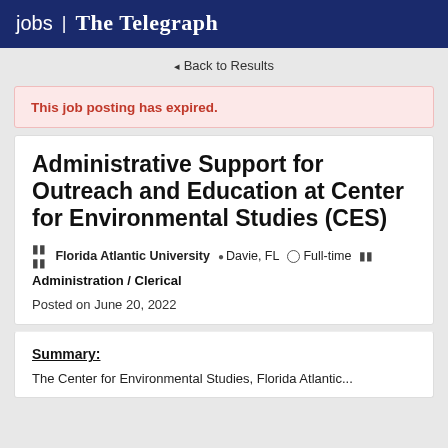jobs | The Telegraph
◄ Back to Results
This job posting has expired.
Administrative Support for Outreach and Education at Center for Environmental Studies (CES)
Florida Atlantic University  Davie, FL  Full-time  Administration / Clerical
Posted on June 20, 2022
Summary:
The Center for Environmental Studies, Florida Atlantic...